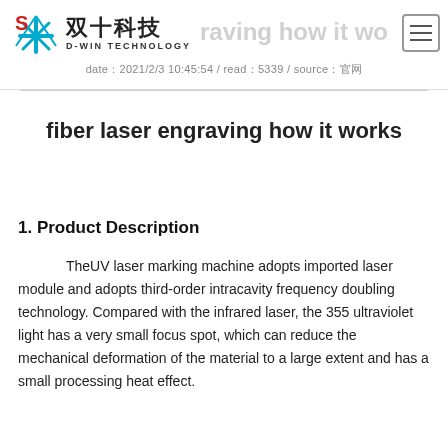D-WIN TECHNOLOGY / 双十科技 — fiber laser engraving how it wo...
date：2021/2/3 10:45:54 / read：5339 / source：官网
fiber laser engraving how it works
1. Product Description
TheUV laser marking machine adopts imported laser module and adopts third-order intracavity frequency doubling technology. Compared with the infrared laser, the 355 ultraviolet light has a very small focus spot, which can reduce the mechanical deformation of the material to a large extent and has a small processing heat effect.